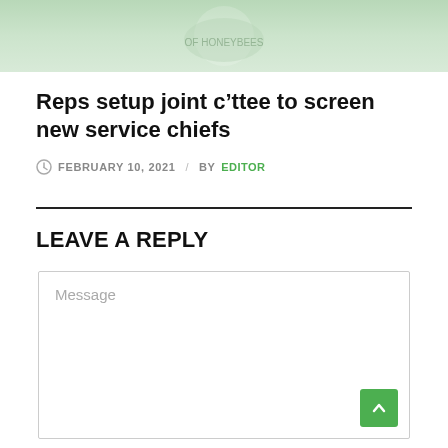[Figure (photo): Top portion of an article image, partially cropped, showing a light green/teal background with decorative elements]
Reps setup joint c’ttee to screen new service chiefs
FEBRUARY 10, 2021  /  BY  EDITOR
LEAVE A REPLY
Message